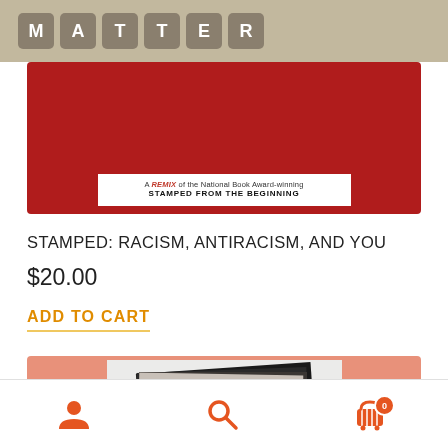MATTER
[Figure (photo): Book cover partial view on red background: 'A REMIX of the National Book Award-winning STAMPED FROM THE BEGINNING']
STAMPED: RACISM, ANTIRACISM, AND YOU
$20.00
ADD TO CART
[Figure (photo): Partial book cover 'HOW TO' on salmon/pink background with dark abstract layered pages]
Navigation icons: user, search, cart (0)